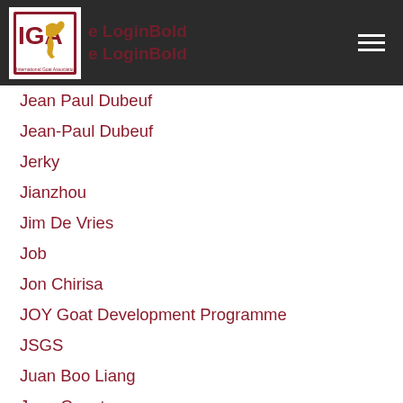IGA — International Goat Association | LoginBold | LoginBold
Jean Paul Dubeuf
Jean-Paul Dubeuf
Jerky
Jianzhou
Jim De Vries
Job
Jon Chirisa
JOY Goat Development Programme
JSGS
Juan Boo Liang
Juan Capote
Juan Capote
Julie Cameron
Jun Luo
Kentaro Kawazoe
Kenya
Kiko Goats